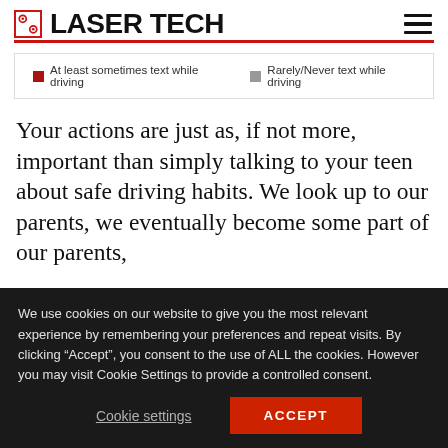LASER TECH
[Figure (infographic): Chart legend showing two series: 'At least sometimes text while driving' (red square) and 'Rarely/Never text while driving' (gray square)]
Your actions are just as, if not more, important than simply talking to your teen about safe driving habits. We look up to our parents, we eventually become some part of our parents,
We use cookies on our website to give you the most relevant experience by remembering your preferences and repeat visits. By clicking “Accept”, you consent to the use of ALL the cookies. However you may visit Cookie Settings to provide a controlled consent.